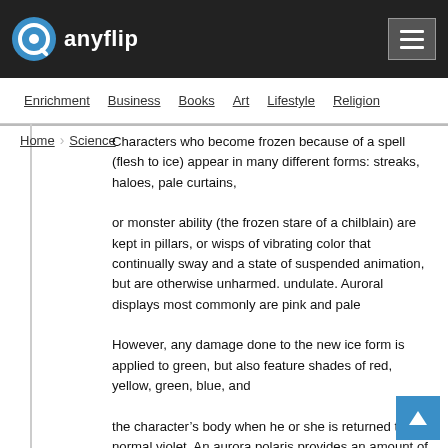anyflip
Enrichment  Business  Books  Art  Lifestyle  Religion
Home  Science
Characters who become frozen because of a spell (flesh to ice) appear in many different forms: streaks, haloes, pale curtains,
or monster ability (the frozen stare of a chilblain) are kept in pillars, or wisps of vibrating color that continually sway and a state of suspended animation, but are otherwise unharmed. undulate. Auroral displays most commonly are pink and pale
However, any damage done to the new ice form is applied to green, but also feature shades of red, yellow, green, blue, and
the character’s body when he or she is returned to normal violet. An aurora polaris provides an amount of illumination condition. Shattering a frozen creature instantly slays it, equivalent to moonlight, but does not significantly increase requiring a resurrection spell to bring the victim back to life.